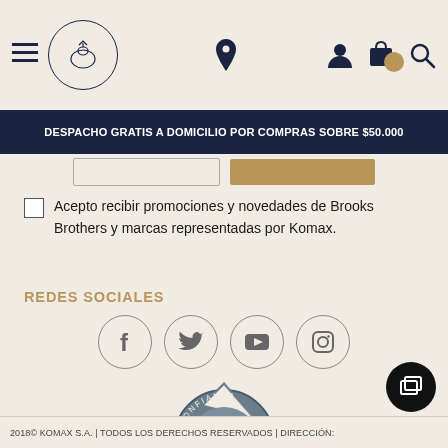[Figure (screenshot): Website header with hamburger menu, Brooks Brothers logo circle, location pin icon, user icon, bag icon with gold badge, and search icon]
DESPACHO GRATIS A DOMICILIO POR COMPRAS SOBRE $50.000
Acepto recibir promociones y novedades de Brooks Brothers y marcas representadas por Komax.
REDES SOCIALES
[Figure (illustration): Social media icons in circles: Facebook, Twitter, YouTube, Instagram]
[Figure (logo): CCS Confianza Ecommerce seal/badge]
2018© KOMAX S.A. | TODOS LOS DERECHOS RESERVADOS | DIRECCIÓN: